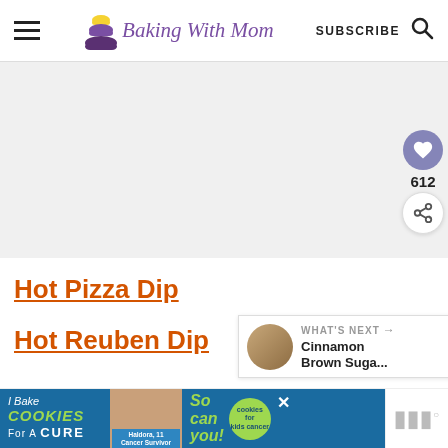Baking With Mom — SUBSCRIBE
[Figure (photo): Large image placeholder area, light gray background]
Hot Pizza Dip
Hot Reuben Dip
[Figure (infographic): WHAT'S NEXT arrow: Cinnamon Brown Suga... with circular thumbnail]
[Figure (infographic): Bottom advertisement banner: I Bake COOKIES For A CURE - Haldora, 11 Cancer Survivor - So can you! - cookies for kids cancer badge, close X, Mediavine logo]